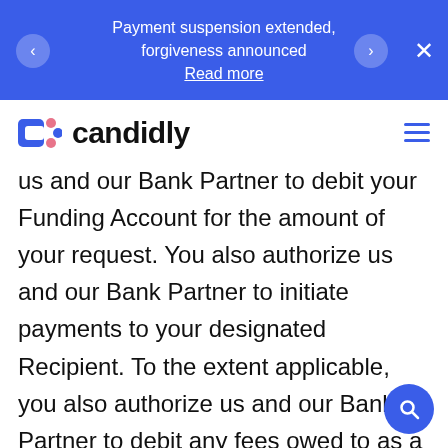Payment suspension extended, forgiveness announced
Read more
[Figure (logo): Candidly logo — stylized C icon with pink and blue dots, followed by the word 'candidly' in bold black text]
us and our Bank Partner to debit your Funding Account for the amount of your request. You also authorize us and our Bank Partner to initiate payments to your designated Recipient. To the extent applicable, you also authorize us and our Bank Partner to debit any fees owed to as a result of your use of the Service. Any